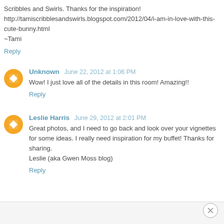Scribbles and Swirls. Thanks for the inspiration! http://tamiscribblesandswirls.blogspot.com/2012/04/i-am-in-love-with-this-cute-bunny.html ~Tami
Reply
Unknown June 22, 2012 at 1:06 PM
Wow! I just love all of the details in this room! Amazing!!
Reply
Leslie Harris June 29, 2012 at 2:01 PM
Great photos, and I need to go back and look over your vignettes for some ideas. I really need inspiration for my buffet! Thanks for sharing.
Leslie (aka Gwen Moss blog)
Reply